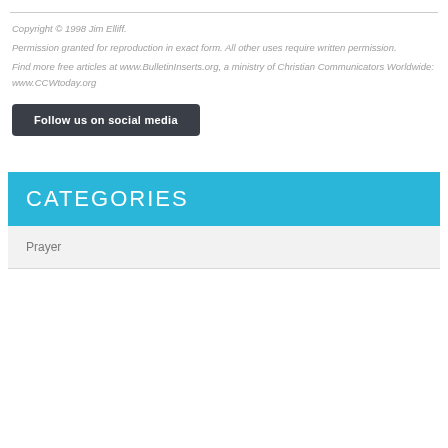Copyright © 1998 Jim Elliff.
Permission granted for reproduction in exact form. All other uses require written permission.
Find more free articles at www.BulletinInserts.org, a ministry of Christian Communicators Worldwide: www.CCWtoday.org
Follow us on social media
CATEGORIES
Prayer